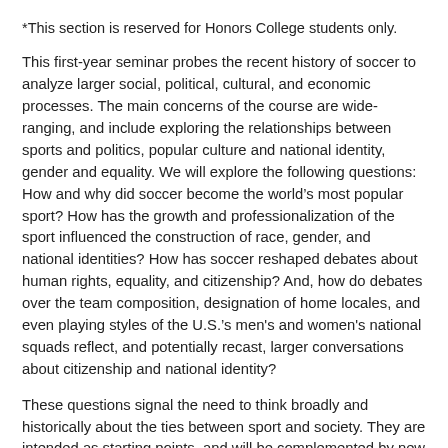*This section is reserved for Honors College students only.
This first-year seminar probes the recent history of soccer to analyze larger social, political, cultural, and economic processes. The main concerns of the course are wide-ranging, and include exploring the relationships between sports and politics, popular culture and national identity, gender and equality. We will explore the following questions: How and why did soccer become the world’s most popular sport? How has the growth and professionalization of the sport influenced the construction of race, gender, and national identities? How has soccer reshaped debates about human rights, equality, and citizenship? And, how do debates over the team composition, designation of home locales, and even playing styles of the U.S.'s men's and women's national squads reflect, and potentially recast, larger conversations about citizenship and national identity?
These questions signal the need to think broadly and historically about the ties between sport and society. They are intended as starting points, and will be complemented by new questions and